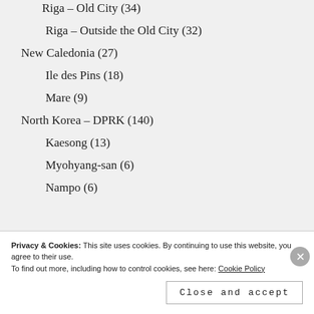Riga – Old City (34)
Riga – Outside the Old City (32)
New Caledonia (27)
Ile des Pins (18)
Mare (9)
North Korea – DPRK (140)
Kaesong (13)
Myohyang-san (6)
Nampo (6)
Privacy & Cookies: This site uses cookies. By continuing to use this website, you agree to their use.
To find out more, including how to control cookies, see here: Cookie Policy
Close and accept